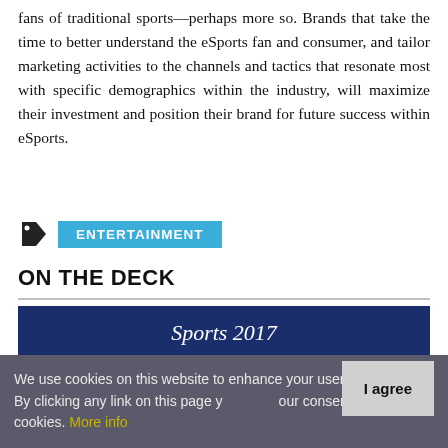fans of traditional sports—perhaps more so. Brands that take the time to better understand the eSports fan and consumer, and tailor marketing activities to the channels and tactics that resonate most with specific demographics within the industry, will maximize their investment and position their brand for future success within eSports.
ENTERTAINMENT
ON THE DECK
[Figure (other): Card graphic with dark blue header 'Sports 2017', red subheader 'Top Vendors', and light pink footer 'SPORTS TECHNOLOGY SPECIAL']
We use cookies on this website to enhance your user experience. By clicking any link on this page you give your consent for us to set cookies. More info